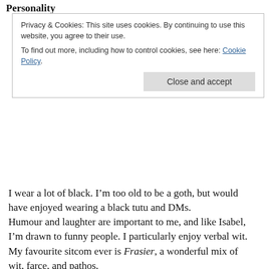Personality
Privacy & Cookies:  This site uses cookies. By continuing to use this website, you agree to their use.
To find out more, including how to control cookies, see here: Cookie Policy
I wear a lot of black. I’m too old to be a goth, but would have enjoyed wearing a black tutu and DMs.
Humour and laughter are important to me, and like Isabel, I’m drawn to funny people. I particularly enjoy verbal wit.  My favourite sitcom ever is Frasier, a wonderful mix of wit, farce, and pathos.
I love life and I’m hugely motivated by the quest for self-fulfilment. I like to achieve things and to be striving for something, and as soon as one project is complete I’m looking for a new one.
My favourite time of year is autumn, and I like dramatic weather, especially heavy rain, thunderstorms and high winds.
Sometimes, I can be a bit of a know-all, and I like to be right – but I’m working on this!
Skills (on the way):